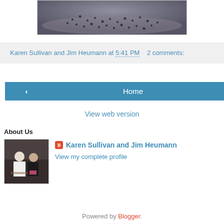[Figure (photo): Partial photo showing what appears to be birds on a beach or sandy surface, dark/grey tones]
Karen Sullivan and Jim Heumann at 5:41 PM    2 comments:
‹
Home
›
View web version
About Us
[Figure (photo): Profile photo of a couple, man in white shirt and woman in dark top with pink accent]
Karen Sullivan and Jim Heumann
View my complete profile
Powered by Blogger.